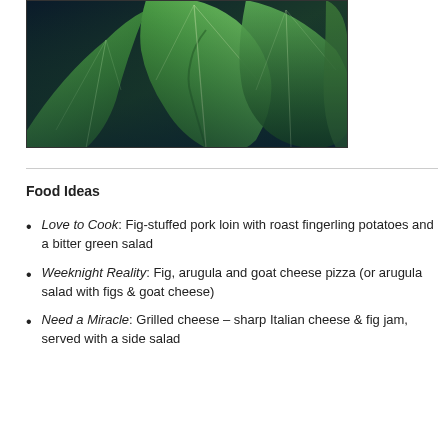[Figure (photo): Close-up photograph of large green tropical fig leaves with visible veins, dark background with blue-teal tones in the lower portion]
Food Ideas
Love to Cook: Fig-stuffed pork loin with roast fingerling potatoes and a bitter green salad
Weeknight Reality: Fig, arugula and goat cheese pizza (or arugula salad with figs & goat cheese)
Need a Miracle: Grilled cheese – sharp Italian cheese & fig jam, served with a side salad